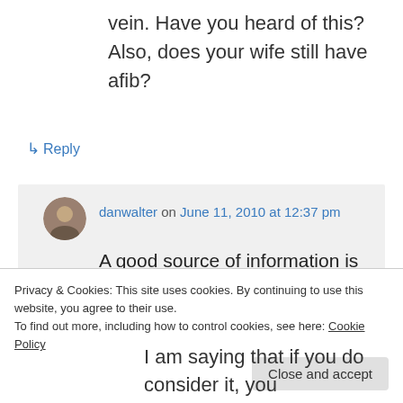vein. Have you heard of this? Also, does your wife still have afib?
↳ Reply
danwalter on June 11, 2010 at 12:37 pm
A good source of information is Hans Larsen's Afib Forum. And here is a recent article in The Washington Post
Privacy & Cookies: This site uses cookies. By continuing to use this website, you agree to their use.
To find out more, including how to control cookies, see here: Cookie Policy
Close and accept
I am saying that if you do consider it, you